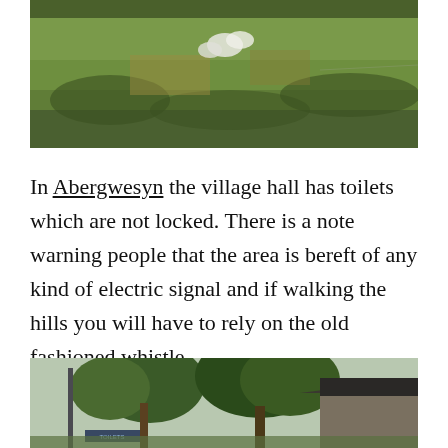[Figure (photo): Hillside landscape with green and brown grasses and some white flowering plants]
In Abergwesyn the village hall has toilets which are not locked. There is a note warning people that the area is bereft of any kind of electric signal and if walking the hills you will have to rely on the old fashioned whistle.
[Figure (photo): Village scene with trees and a stone building with slate roof, a sign post visible near the entrance]